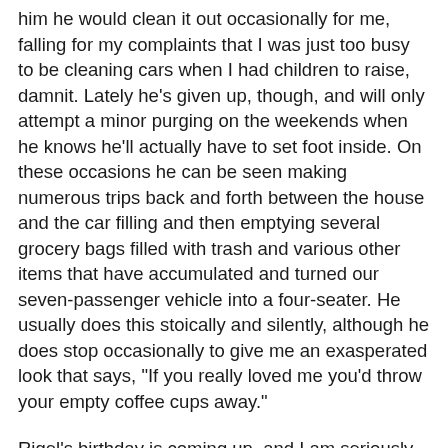him he would clean it out occasionally for me, falling for my complaints that I was just too busy to be cleaning cars when I had children to raise, damnit. Lately he's given up, though, and will only attempt a minor purging on the weekends when he knows he'll actually have to set foot inside. On these occasions he can be seen making numerous trips back and forth between the house and the car filling and then emptying several grocery bags filled with trash and various other items that have accumulated and turned our seven-passenger vehicle into a four-seater. He usually does this stoically and silently, although he does stop occasionally to give me an exasperated look that says, "If you really loved me you'd throw your empty coffee cups away."
Rigel's birthday is coming up, and I am seriously thinking of surprising him on that day by waking up early and taking the car to be detailed, one of those deluxe jobs where they use a Q-tip to clean the radio buttons and soak all the interior fabrics in battery acid to get out all the ketchup stains. I think that this will be better than those concert tickets I was thinking of getting him, or that guitar even. When he sees the van in the driveway, clean and shiny and without a single Cheeto smashed into the armrest, I'm sure he'll cry real